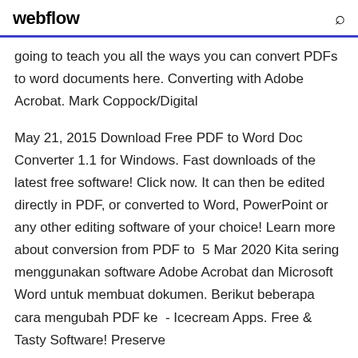webflow
going to teach you all the ways you can convert PDFs to word documents here. Converting with Adobe Acrobat. Mark Coppock/Digital
May 21, 2015 Download Free PDF to Word Doc Converter 1.1 for Windows. Fast downloads of the latest free software! Click now. It can then be edited directly in PDF, or converted to Word, PowerPoint or any other editing software of your choice! Learn more about conversion from PDF to  5 Mar 2020 Kita sering menggunakan software Adobe Acrobat dan Microsoft Word untuk membuat dokumen. Berikut beberapa cara mengubah PDF ke  - Icecream Apps. Free & Tasty Software! Preserve